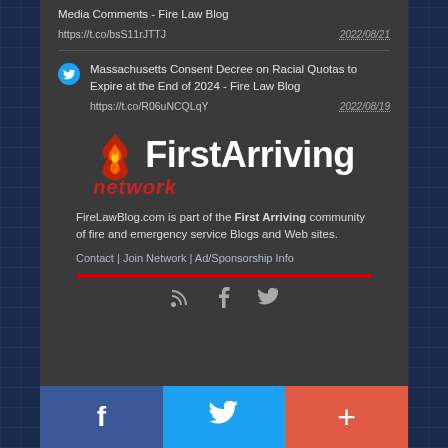Media Comments - Fire Law Blog https://t.co/bsS11rJTTJ 2022/08/21
Massachusetts Consent Decree on Racial Quotas to Expire at the End of 2024 - Fire Law Blog https://t.co/R06uNCQLqY 2022/08/19
[Figure (logo): FirstArriving network logo with flame graphic]
FireLawBlog.com is part of the First Arriving community of fire and emergency service Blogs and Web sites.
Contact | Join Network | Ad/Sponsorship Info